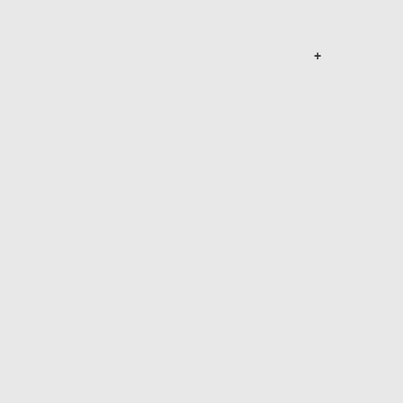wins the first TIT tournament and is awared the rank of [[Jedi Academy Knight]].
*December 1st, 2002: The [[Jedi Academy Knight|Knight]] trials are opened but individuals must be selected by the staff before being able to take them [http://www.thejediacademy.net/news_detail.php?f_id=202].